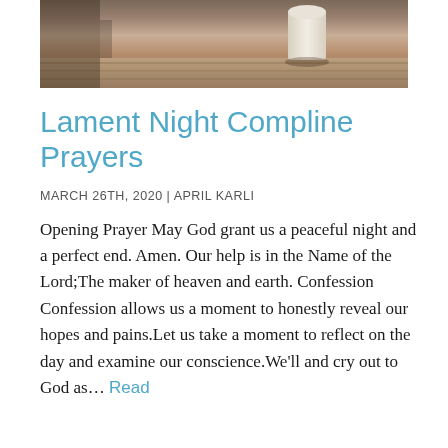[Figure (photo): A candle on a wooden surface, warm toned photograph, blurred background]
Lament Night Compline Prayers
MARCH 26TH, 2020 | APRIL KARLI
Opening Prayer May God grant us a peaceful night and a perfect end. Amen. Our help is in the Name of the Lord;The maker of heaven and earth. Confession Confession allows us a moment to honestly reveal our hopes and pains.Let us take a moment to reflect on the day and examine our conscience.We'll and cry out to God as… Read